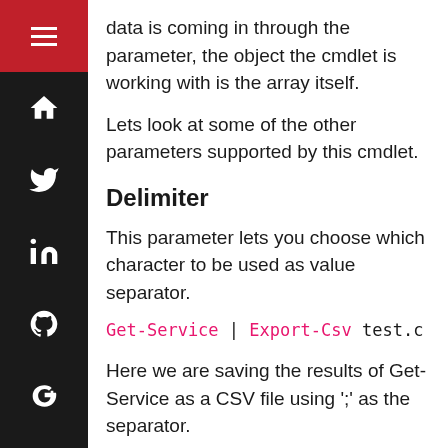data is coming in through the parameter, the object the cmdlet is working with is the array itself.
Lets look at some of the other parameters supported by this cmdlet.
Delimiter
This parameter lets you choose which character to be used as value separator.
Get-Service | Export-Csv test.c
Here we are saving the results of Get-Service as a CSV file using ';' as the separator.